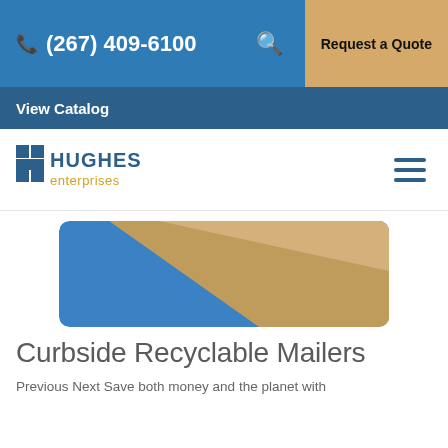(267) 409-6100   Request a Quote
View Catalog
[Figure (logo): Hughes Enterprises logo with stylized H icon in blue and orange, company name in blue and orange text]
[Figure (photo): Blue envelope-style mailer product photo showing a kraft/tan colored mailer insert against a blue background, rounded corners]
Curbside Recyclable Mailers
Previous Next Save both money and the planet with